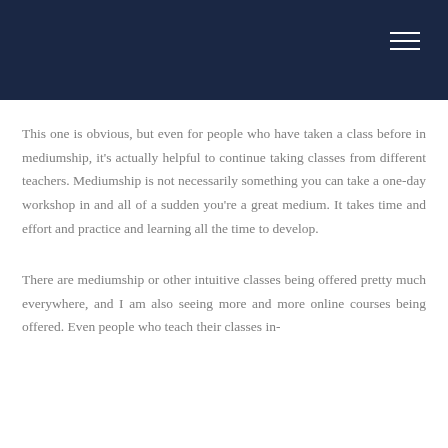This one is obvious, but even for people who have taken a class before in mediumship, it's actually helpful to continue taking classes from different teachers. Mediumship is not necessarily something you can take a one-day workshop in and all of a sudden you're a great medium. It takes time and effort and practice and learning all the time to develop.
There are mediumship or other intuitive classes being offered pretty much everywhere, and I am also seeing more and more online courses being offered. Even people who teach their classes in-